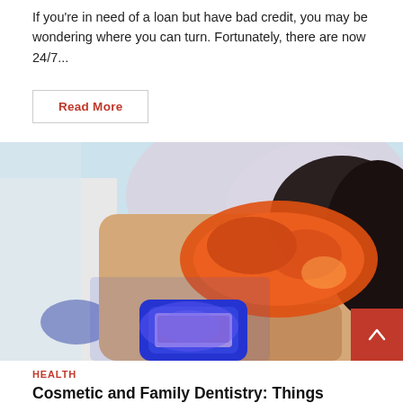If you're in need of a loan but have bad credit, you may be wondering where you can turn. Fortunately, there are now 24/7...
Read More
[Figure (photo): A dental patient wearing orange protective goggles lying back in a dentist chair while a dental professional performs a teeth whitening procedure using a blue UV light device and mouth retractor.]
HEALTH
Cosmetic and Family Dentistry: Things